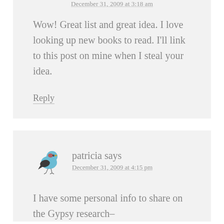December 31, 2009 at 3:18 am
Wow! Great list and great idea. I love looking up new books to read. I'll link to this post on mine when I steal your idea.
Reply
patricia says
December 31, 2009 at 4:15 pm
I have some personal info to share on the Gypsy research–